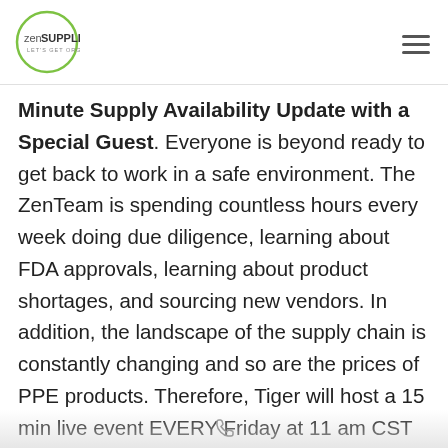[Figure (logo): ZenSupplies logo — circle outline with 'zen' in light weight and 'SUPPLIES' in bold, tagline 'LET'S GET ORGANIZED' below]
Minute Supply Availability Update with a Special Guest. Everyone is beyond ready to get back to work in a safe environment. The ZenTeam is spending countless hours every week doing due diligence, learning about FDA approvals, learning about product shortages, and sourcing new vendors. In addition, the landscape of the supply chain is constantly changing and so are the prices of PPE products. Therefore, Tiger will host a 15 min live event EVERY Friday at 11 am CST to go over what we learn during the week. We will share EVERYTHING–good, bad and what to prepare